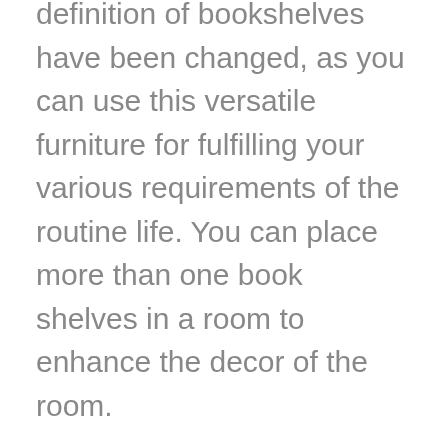definition of bookshelves have been changed, as you can use this versatile furniture for fulfilling your various requirements of the routine life. You can place more than one book shelves in a room to enhance the decor of the room.
Now, people are buying bookshelves to add elegance for their living room, bedroom, dining room, etc. so that they can set their library anywhere in the indoor area of the home.
If you are going to buy bookshelves, you will find various designs, sizes, etc. you can choose the best one for improving the stylish looks of your home. You can also use books as a decorative piece by placing